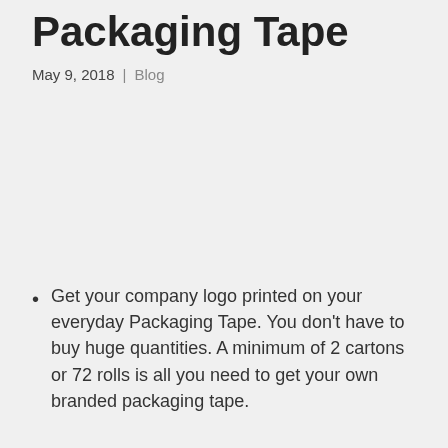Packaging Tape
May 9, 2018 | Blog
Get your company logo printed on your everyday Packaging Tape. You don't have to buy huge quantities. A minimum of 2 cartons or 72 rolls is all you need to get your own branded packaging tape.